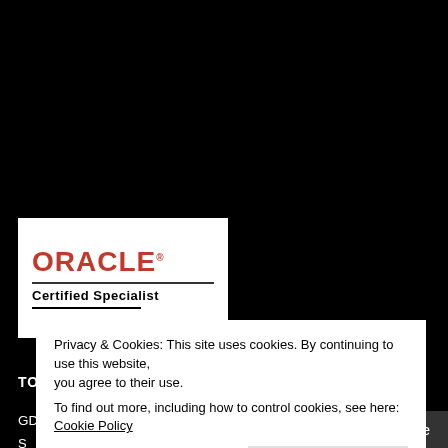[Figure (logo): Oracle Certified Specialist badge/logo on white background]
TOP POSTS & PAGES
GDPR - Oracle Max Data Security Architecture - SE?
Privacy & Cookies: This site uses cookies. By continuing to use this website, you agree to their use.
To find out more, including how to control cookies, see here: Cookie Policy
Close and accept
Follow me